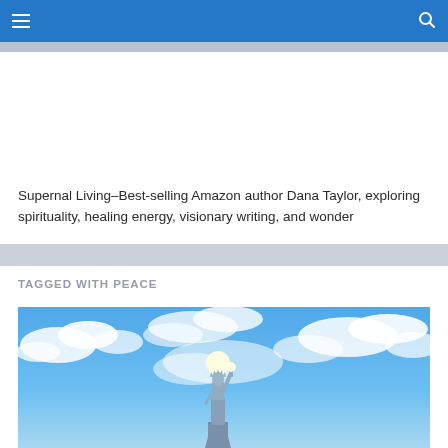Navigation bar with hamburger menu and search icon
Supernal Living–Best-selling Amazon author Dana Taylor, exploring spirituality, healing energy, visionary writing, and wonder
TAGGED WITH PEACE
[Figure (photo): Statue of Liberty against a bright blue sky with clouds, with a bright light emanating from the torch]